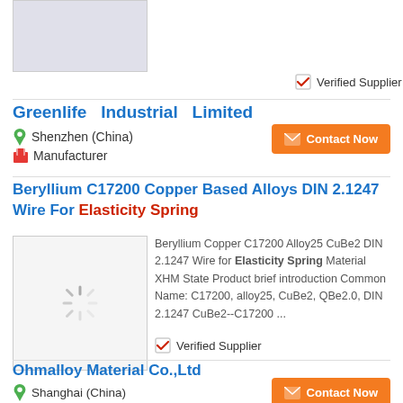[Figure (photo): Product image placeholder with grey background (partially visible at top)]
Verified Supplier
Greenlife  Industrial  Limited
Shenzhen (China)
Manufacturer
Beryllium C17200 Copper Based Alloys DIN 2.1247 Wire For Elasticity Spring
[Figure (photo): Loading spinner icon on light grey background]
Beryllium Copper C17200 Alloy25 CuBe2 DIN 2.1247 Wire for Elasticity Spring Material XHM State Product brief introduction Common Name: C17200, alloy25, CuBe2, QBe2.0, DIN 2.1247 CuBe2--C17200 ...
Verified Supplier
Ohmalloy Material Co.,Ltd
Shanghai (China)
Manufacturer